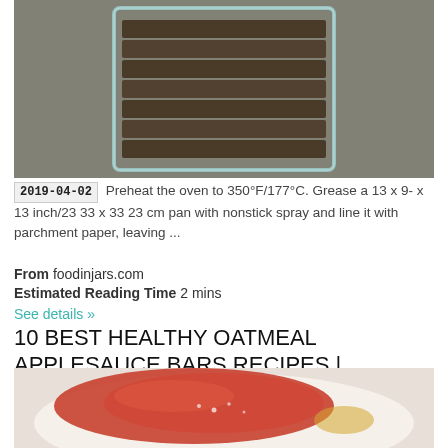[Figure (photo): Overhead photo of granola/oatmeal bars stacked in a clear glass rectangular container, on a grey surface]
2019-04-02  Preheat the oven to 350°F/177°C. Grease a 13 x 9- x 13 inch/23 33 x 33 23 cm pan with nonstick spray and line it with parchment paper, leaving ...
From foodinjars.com
Estimated Reading Time 2 mins
See details »
10 BEST HEALTHY OATMEAL APPLESAUCE BARS RECIPES | YUMMLY
[Figure (photo): Close-up photo of red applesauce or jam on a white plate with some liquid]